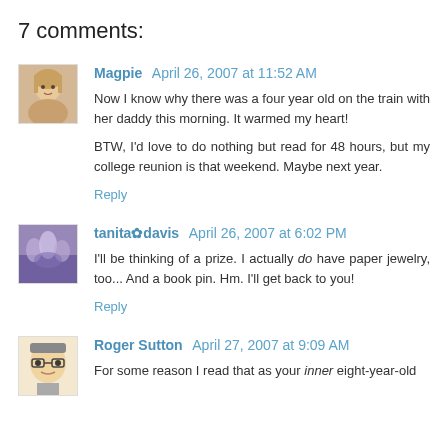7 comments:
Magpie April 26, 2007 at 11:52 AM
Now I know why there was a four year old on the train with her daddy this morning. It warmed my heart!

BTW, I'd love to do nothing but read for 48 hours, but my college reunion is that weekend. Maybe next year.
Reply
tanita✿davis April 26, 2007 at 6:02 PM
I'll be thinking of a prize. I actually do have paper jewelry, too... And a book pin. Hm. I'll get back to you!
Reply
Roger Sutton April 27, 2007 at 9:09 AM
For some reason I read that as your inner eight-year-old